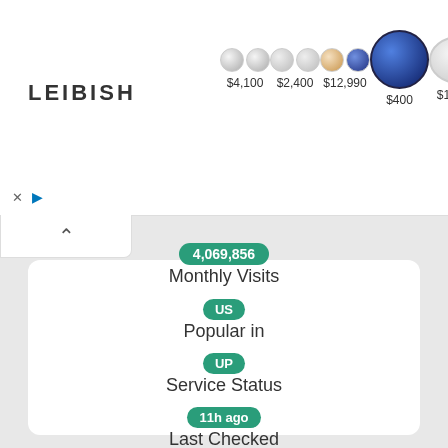[Figure (other): LEIBISH jewelry advertisement banner showing logo and 5 jewelry items with prices: $4,100, $2,400, $12,990, $400, $12,280]
[Figure (other): Collapse/minimize button with upward arrow]
4,069,856
Monthly Visits
US
Popular in
UP
Service Status
11h ago
Last Checked
India.gov.in - Wikipedia